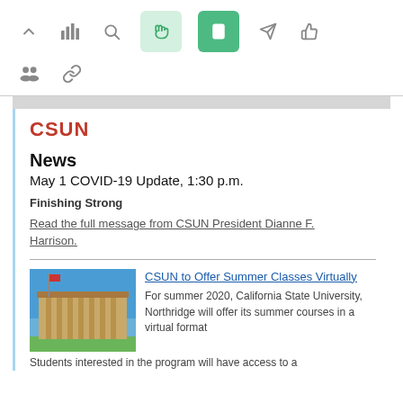[Figure (screenshot): Top navigation toolbar with icons: up arrow, bar chart, search/magnifier, hand pointer (highlighted green), square/tablet (highlighted dark green), rocket/send, thumbs up]
[Figure (screenshot): Second toolbar row with people/group icon and chain-link icon]
CSUN
News
May 1 COVID-19 Update, 1:30 p.m.
Finishing Strong
Read the full message from CSUN President Dianne F. Harrison.
CSUN to Offer Summer Classes Virtually
For summer 2020, California State University, Northridge will offer its summer courses in a virtual format Students interested in the program will have access to a